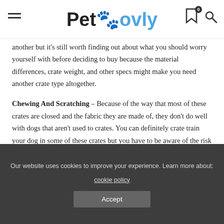Petovly
another but it's still worth finding out about what you should worry yourself with before deciding to buy because the material differences, crate weight, and other specs might make you need another crate type altogether.
Chewing And Scratching – Because of the way that most of these crates are closed and the fabric they are made of, they don't do well with dogs that aren't used to crates. You can definitely crate train your dog in some of these crates but you have to be aware of the risk that the crate might end up destroyed anyway.
Our website uses cookies to improve your experience. Learn more about: cookie policy
Accept